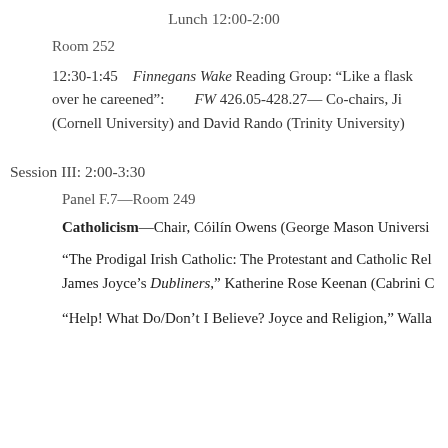Lunch 12:00-2:00
Room 252
12:30-1:45    Finnegans Wake Reading Group: “Like a flask over he careened”:        FW 426.05-428.27— Co-chairs, Ji (Cornell University) and David Rando (Trinity University)
Session III: 2:00-3:30
Panel F.7—Room 249
Catholicism—Chair, Cóilín Owens (George Mason Universi
“The Prodigal Irish Catholic: The Protestant and Catholic Rel James Joyce’s Dubliners,” Katherine Rose Keenan (Cabrini C
“Help! What Do/Don’t I Believe? Joyce and Religion,” Walla